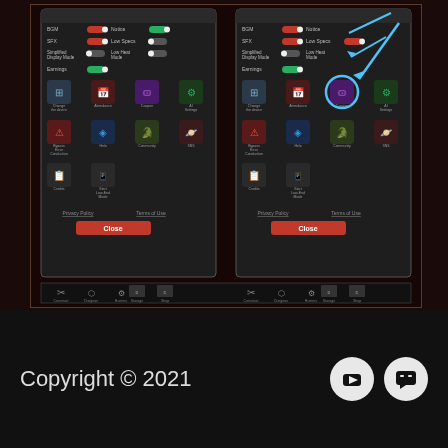[Figure (screenshot): Side-by-side comparison of a mobile game settings menu showing two panels. Left panel shows standard settings view with BGM, SFX, Simplified Display Mode toggles, Earnings toggle, and icons for Change the Device, Attendance, Coupon, AI Settings, Bypass Error Conduction, Helo, Community, SNS, Credits, Start Low-End Mode. Right panel is identical but with a cyan circle and arrow annotation highlighting the Coupon icon. Both panels have Privacy Policy and Terms of use links and a red Close button. Bottom navigation bar shows Construct, Dungeon, Hunters, Storage, Shop icons.]
Copyright © 2021